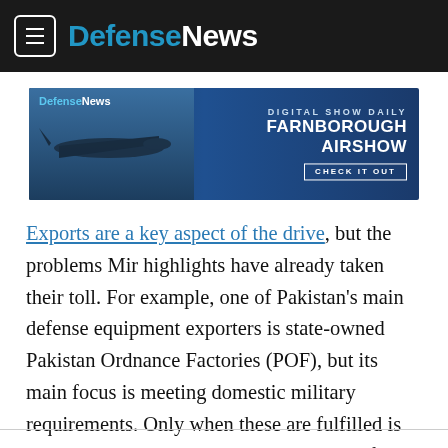DefenseNews
[Figure (screenshot): DefenseNews advertisement banner for Digital Show Daily Farnborough Airshow with aircraft image and 'Check It Out' button]
Exports are a key aspect of the drive, but the problems Mir highlights have already taken their toll. For example, one of Pakistan's main defense equipment exporters is state-owned Pakistan Ordnance Factories (POF), but its main focus is meeting domestic military requirements. Only when these are fulfilled is any spare production capacity given over for commercial orders, which private defense contractors and even POF officials highlight as restricting export potential.